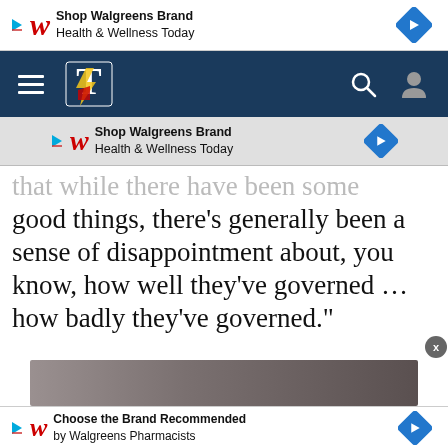[Figure (screenshot): Walgreens ad banner: Shop Walgreens Brand Health & Wellness Today with W logo and blue diamond arrow icon]
[Figure (screenshot): Navigation bar with dark blue background, hamburger menu, newspaper logo (lightning bolt with American flag sail), search icon, and user profile icon]
[Figure (screenshot): Second Walgreens ad banner: Shop Walgreens Brand Health & Wellness Today with W logo and blue diamond arrow icon, on grey background]
that while there have been some good things, there’s generally been a sense of disappointment about, you know, how well they’ve governed … how badly they’ve governed.”
[Figure (photo): Partial photo at bottom of article, appears to show people, cropped]
[Figure (screenshot): Walgreens ad banner at bottom: Choose the Brand Recommended by Walgreens Pharmacists with W logo and blue diamond arrow icon]